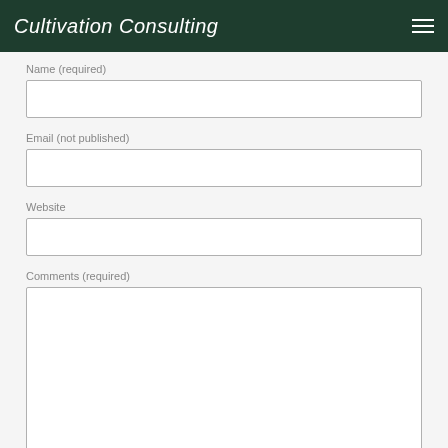Cultivation Consulting
Name (required)
Email (not published)
Website
Comments (required)